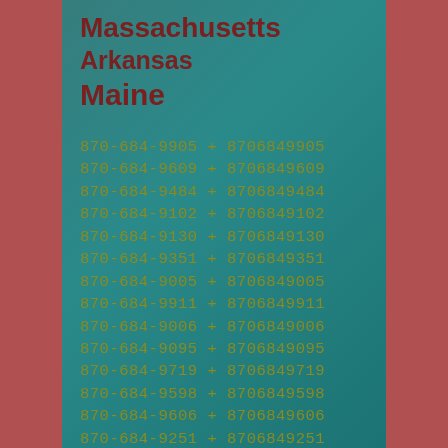Massachusetts
Arkansas
Maine
870-684-9905 + 8706849905
870-684-9609 + 8706849609
870-684-9484 + 8706849484
870-684-9102 + 8706849102
870-684-9130 + 8706849130
870-684-9351 + 8706849351
870-684-9005 + 8706849005
870-684-9911 + 8706849911
870-684-9006 + 8706849006
870-684-9095 + 8706849095
870-684-9719 + 8706849719
870-684-9598 + 8706849598
870-684-9606 + 8706849606
870-684-9251 + 8706849251
870-684-9488 + 8706849488
870-684-9200 + 8706849200
870-684-9792 + 8706849792